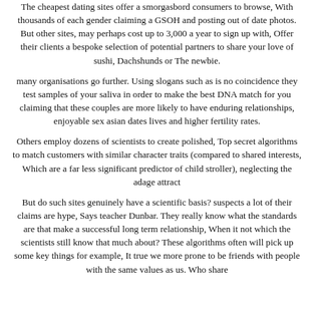The cheapest dating sites offer a smorgasbord consumers to browse, With thousands of each gender claiming a GSOH and posting out of date photos. But other sites, may perhaps cost up to 3,000 a year to sign up with, Offer their clients a bespoke selection of potential partners to share your love of sushi, Dachshunds or The newbie.
many organisations go further. Using slogans such as is no coincidence they test samples of your saliva in order to make the best DNA match for you claiming that these couples are more likely to have enduring relationships, enjoyable sex asian dates lives and higher fertility rates.
Others employ dozens of scientists to create polished, Top secret algorithms to match customers with similar character traits (compared to shared interests, Which are a far less significant predictor of child stroller), neglecting the adage attract
But do such sites genuinely have a scientific basis? suspects a lot of their claims are hype, Says teacher Dunbar. They really know what the standards are that make a successful long term relationship, When it not which the scientists still know that much about? These algorithms often will pick up some key things for example, It true we more prone to be friends with people with the same values as us. Who share